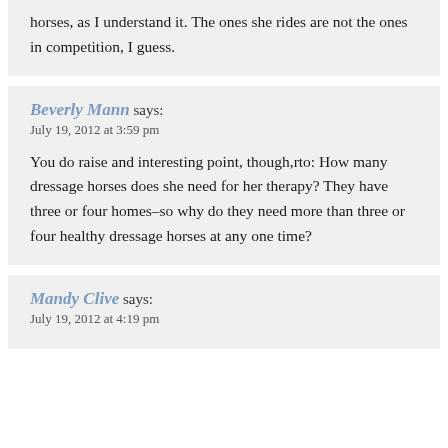horses, as I understand it. The ones she rides are not the ones in competition, I guess.
Beverly Mann says:
July 19, 2012 at 3:59 pm

You do raise and interesting point, though,rto: How many dressage horses does she need for her therapy? They have three or four homes–so why do they need more than three or four healthy dressage horses at any one time?
Mandy Clive says:
July 19, 2012 at 4:19 pm